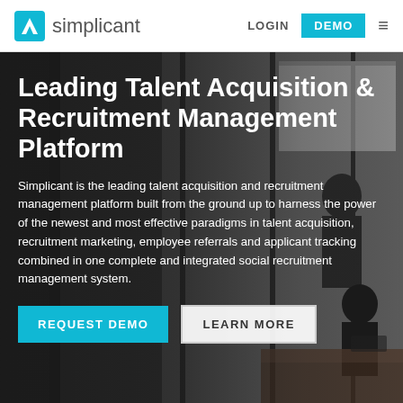simplicant | LOGIN | DEMO
[Figure (photo): Office/meeting room background photo with people in a collaborative workspace, slightly dark toned]
Leading Talent Acquisition & Recruitment Management Platform
Simplicant is the leading talent acquisition and recruitment management platform built from the ground up to harness the power of the newest and most effective paradigms in talent acquisition, recruitment marketing, employee referrals and applicant tracking combined in one complete and integrated social recruitment management system.
REQUEST DEMO   LEARN MORE